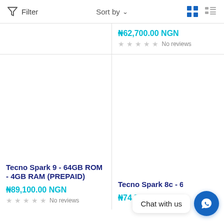Filter  Sort by  [grid view] [list view]
₦62,700.00 NGN
No reviews
Tecno Spark 9 - 64GB ROM - 4GB RAM (PREPAID)
₦89,100.00 NGN
No reviews
Tecno Spark 8c - 6.6" - 64GB ROM - 2GB RAM (P...
₦74,500.00 NGN